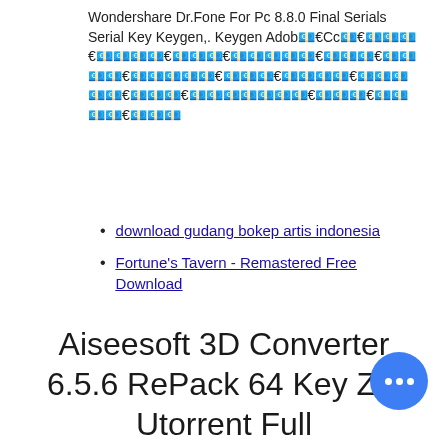Wondershare Dr.Fone For Pc 8.8.0 Final Serials Serial Key Keygen,. Keygen Adob€Cc€€€€€€€€€€€€€€€€€€€€€€€€€€€€€€€€€€€€€€€€€€€€€€€€€€€€€€€€€€€€€€€€€€€€€€€€€€
download gudang bokep artis indonesia
Fortune's Tavern - Remastered Free Download
Aiseesoft 3D Converter 6.5.6 RePack 64 Key Zip Utorrent Full